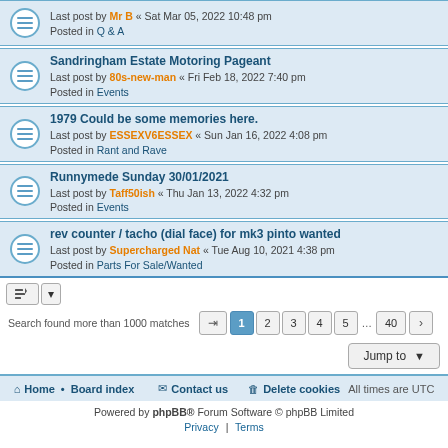Last post by Mr B « Sat Mar 05, 2022 10:48 pm
Posted in Q & A
Sandringham Estate Motoring Pageant
Last post by 80s-new-man « Fri Feb 18, 2022 7:40 pm
Posted in Events
1979 Could be some memories here.
Last post by ESSEXV6ESSEX « Sun Jan 16, 2022 4:08 pm
Posted in Rant and Rave
Runnymede Sunday 30/01/2021
Last post by Taff50ish « Thu Jan 13, 2022 4:32 pm
Posted in Events
rev counter / tacho (dial face) for mk3 pinto wanted
Last post by Supercharged Nat « Tue Aug 10, 2021 4:38 pm
Posted in Parts For Sale/Wanted
Search found more than 1000 matches
Home • Board index  Contact us  Delete cookies  All times are UTC
Powered by phpBB® Forum Software © phpBB Limited
Privacy | Terms